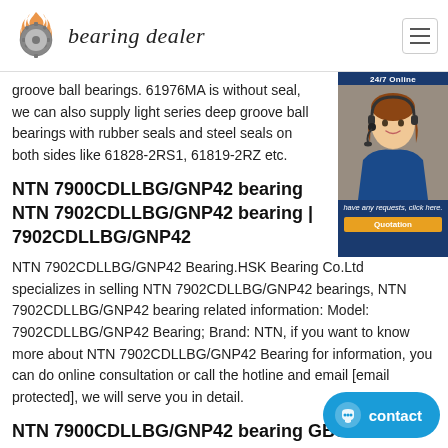bearing dealer
groove ball bearings. 61976MA is without seal, we can also supply light series deep groove ball bearings with rubber seals and steel seals on both sides like 61828-2RS1, 61819-2RZ etc.
NTN 7900CDLLBG/GNP42 bearing NTN 7902CDLLBG/GNP42 bearing | 7902CDLLBG/GNP42
NTN 7902CDLLBG/GNP42 Bearing.HSK Bearing Co.Ltd specializes in selling NTN 7902CDLLBG/GNP42 bearings, NTN 7902CDLLBG/GNP42 bearing related information: Model: 7902CDLLBG/GNP42 Bearing; Brand: NTN, if you want to know more about NTN 7902CDLLBG/GNP42 Bearing for information, you can do online consultation or call the hotline and email [email protected], we will serve you in detail.
NTN 7900CDLLBG/GNP42 bearing GBS